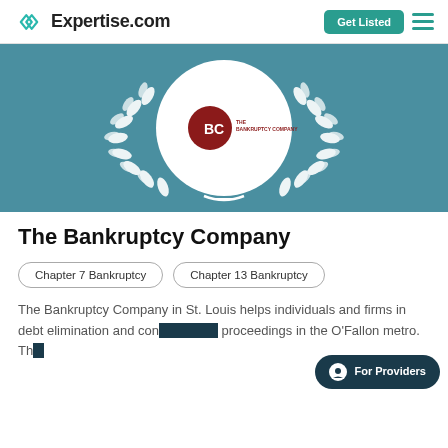Expertise.com
[Figure (logo): The Bankruptcy Company logo inside a white circle surrounded by a white laurel wreath on a teal background]
The Bankruptcy Company
Chapter 7 Bankruptcy
Chapter 13 Bankruptcy
The Bankruptcy Company in St. Louis helps individuals and firms in debt elimination and con... proceedings in the O'Fallon metro. Th...